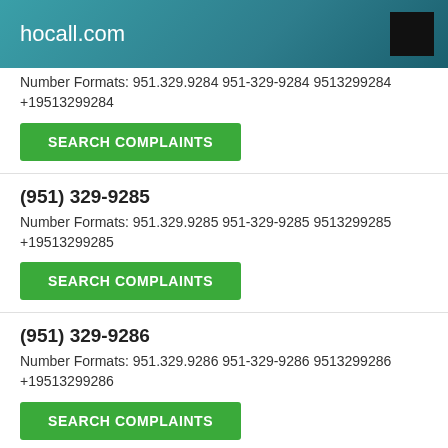hocall.com
Number Formats: 951.329.9284 951-329-9284 9513299284 +19513299284
SEARCH COMPLAINTS
(951) 329-9285
Number Formats: 951.329.9285 951-329-9285 9513299285 +19513299285
SEARCH COMPLAINTS
(951) 329-9286
Number Formats: 951.329.9286 951-329-9286 9513299286 +19513299286
SEARCH COMPLAINTS
(951) 329-9287